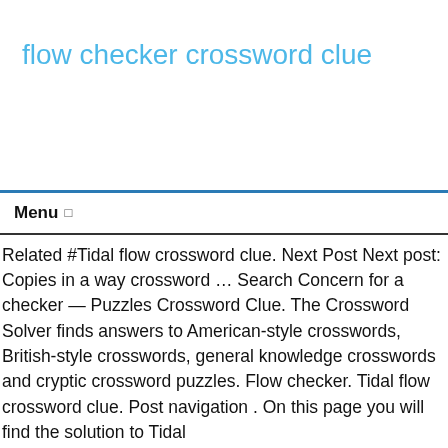flow checker crossword clue
Menu
Related #Tidal flow crossword clue. Next Post Next post: Copies in a way crossword … Search Concern for a checker — Puzzles Crossword Clue. The Crossword Solver finds answers to American-style crosswords, British-style crosswords, general knowledge crosswords and cryptic crossword puzzles. Flow checker. Tidal flow crossword clue. Post navigation . On this page you will find the solution to Tidal